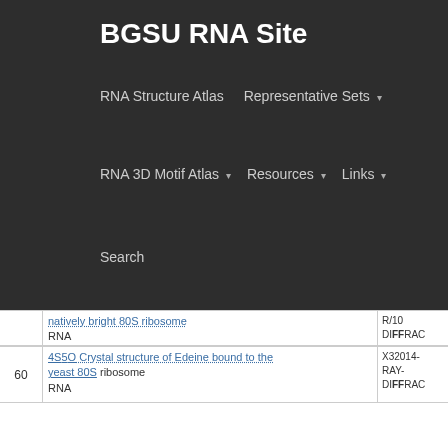BGSU RNA Site
RNA Structure Atlas | Representative Sets ▾ | RNA 3D Motif Atlas ▾ | Resources ▾ | Links ▾ | Search
| # | Description | Meta |
| --- | --- | --- |
|  | Natively bright 80S ribosome RNA | R/10 DIFFRAC |
| 60 | 4SSO Crystal structure of Edeine bound to the yeast 80S ribosome RNA | X32014-RAY-DIFFRAC |
| 61 | 6SSO Cryo-EM structures of Lsg1-TAP pre-60S ribosomal particles | ELECTRON MICROSCOPY 26 |
| 62 | 6SSE Saccharomyces cerevisiae 80S ribosome with ABCF protein New1 RNA | ELECTRON MICROSCOPY 24 |
| 63 | 4SSO Crystal structure of Phyllanthoside bound | X32014- |